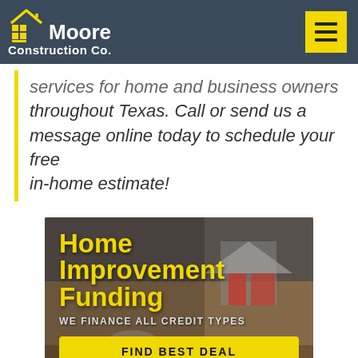Moore Construction Co.
services for home and business owners throughout Texas. Call or send us a message online today to schedule your free in-home estimate!
[Figure (infographic): Home Improvement Funding ad banner with blurred background showing a model house. Yellow bold text reads 'Home Improvement Funding', subtitle 'WE FINANCE ALL CREDIT TYPES', yellow button 'FIND BEST DEAL', caption 'FUNDING UP TO $100,000']